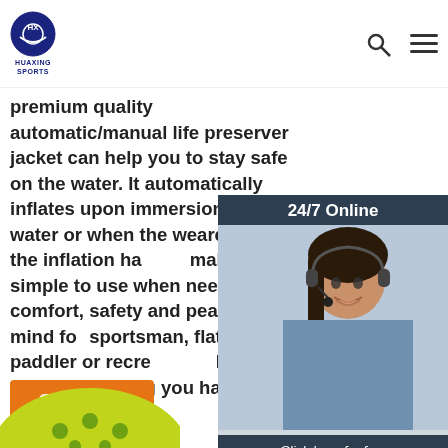HUAXING SPORTS
premium quality automatic/manual life preserver jacket can help you to stay safe on the water. It automatically inflates upon immersion in water or when the wearer pulls the inflation handle, making it simple to use when needed. comfort, safety and peace of mind for sportsman, flat water paddler or recreational boater without knowing you have it on.
[Figure (photo): 24/7 Online customer service agent - woman with headset smiling. Click here for free chat! QUOTATION button.]
[Figure (other): TOP button with orange dot arrow pointing up]
[Figure (photo): Yellow-green inflatable product partially visible at bottom left]
[Figure (photo): Yellow-green inflatable product partially visible at bottom right]